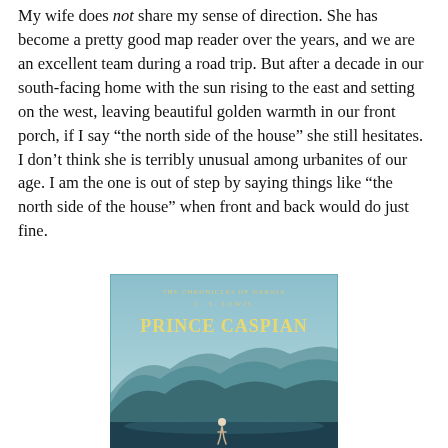My wife does not share my sense of direction. She has become a pretty good map reader over the years, and we are an excellent team during a road trip. But after a decade in our south-facing home with the sun rising to the east and setting on the west, leaving beautiful golden warmth in our front porch, if I say “the north side of the house” she still hesitates. I don’t think she is terribly unusual among urbanites of our age. I am the one is out of step by saying things like “the north side of the house” when front and back would do just fine.
[Figure (illustration): Book cover of 'The Chronicles of Narnia: Prince Caspian' by C.S. Lewis, showing a figure in a mountainous misty teal/blue landscape.]